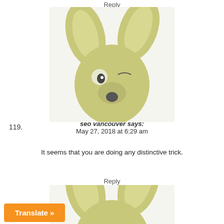Reply
[Figure (illustration): Blurry image of a stuffed animal or character with large ears and a surprised face expression, yellowish-green color]
119.
seo vancouver says:
May 27, 2018 at 6:29 am
It seems that you are doing any distinctive trick.
Reply
[Figure (illustration): Partial blurry image of the same stuffed animal character with large ears, cropped to show top portion]
Translate »